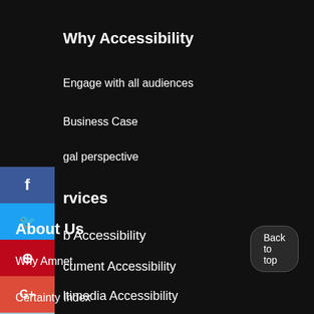Why Accessibility
Engage with all audiences
Business Case
Legal perspective
Services
Web Accessibility
Document Accessibility
Multimedia Accessibility
About Us
Why Amnet
Certainty Index
[Figure (screenshot): Social media sharing buttons sidebar: Facebook, Twitter, Pinterest, Google+, Reddit, Digg]